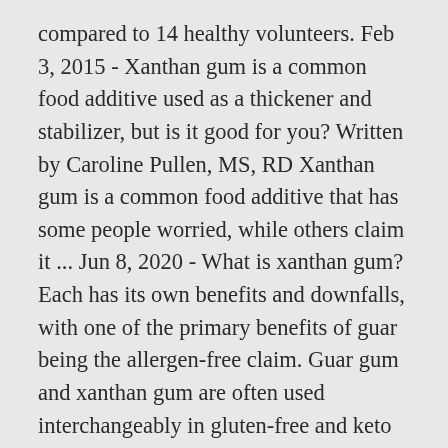compared to 14 healthy volunteers. Feb 3, 2015 - Xanthan gum is a common food additive used as a thickener and stabilizer, but is it good for you? Written by Caroline Pullen, MS, RD Xanthan gum is a common food additive that has some people worried, while others claim it ... Jun 8, 2020 - What is xanthan gum? Each has its own benefits and downfalls, with one of the primary benefits of guar being the allergen-free claim. Guar gum and xanthan gum are often used interchangeably in gluten-free and keto recipes. Gum additives are everywhere in our food supply today. Add your , , For your cold dishes and candies, though, guar gum is usually superior. Xanthan gum promotes digestive health by...